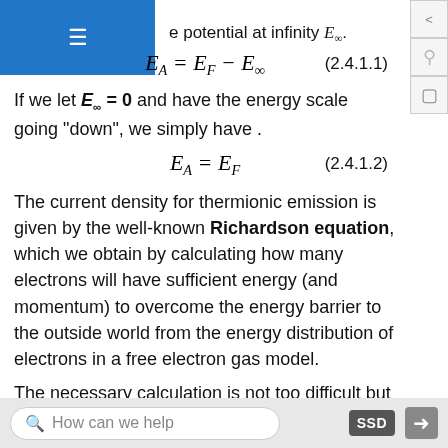e potential at infinity E∞.
If we let E∞ = 0 and have the energy scale going "down", we simply have .
The current density for thermionic emission is given by the well-known Richardson equation, which we obtain by calculating how many electrons will have sufficient energy (and momentum) to overcome the energy barrier to the outside world from the energy distribution of electrons in a free electron gas model.
The necessary calculation is not too difficult but lengthy so we will not do it here. The result, however,
How can we help